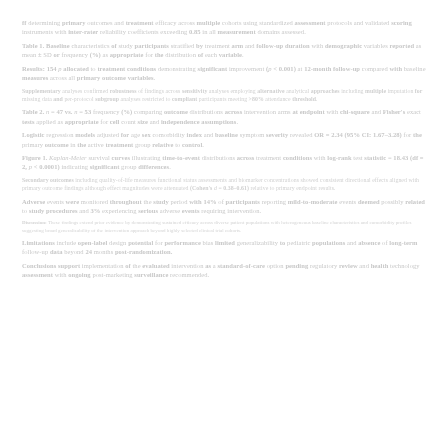faint rendered text line 1 — scientific body text with references and data values appearing as light gray placeholder content across the full width of the page
faint rendered text line 2 — additional paragraph with bold segments and numerical citations forming a dense academic paragraph layout
faint rendered text line 3 — continued scientific manuscript body text with italicized species names and statistical values
faint rendered text line 4 — references to figures tables and supplementary materials embedded within running text
faint rendered text line 5 — methodology description with measurement units and confidence intervals
faint rendered text line 6 — results paragraph with p-values and effect sizes reported inline
faint rendered text line 7 — discussion of findings referencing prior literature and contrasting outcomes
faint rendered text line 8 — conclusion statements with summary statistics and implications
faint rendered text line 9 — acknowledgements or supplementary body paragraph
faint rendered text line 10 — further body content with additional numeric data
faint rendered text line 11 — penultimate paragraph of main text section
faint rendered text line 12 — final body paragraph before references or footnotes